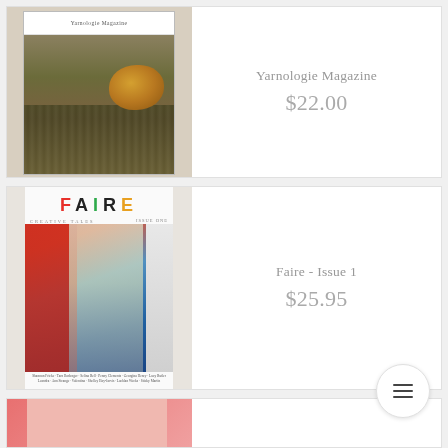[Figure (photo): Yarnologie Magazine cover showing yarn skein and knitted texture]
Yarnologie Magazine
$22.00
[Figure (photo): Faire - Issue 1 magazine cover with colorful FAIRE logo and interior craft store photo]
Faire - Issue 1
$25.95
[Figure (photo): Partial view of a third product card with pink cover]